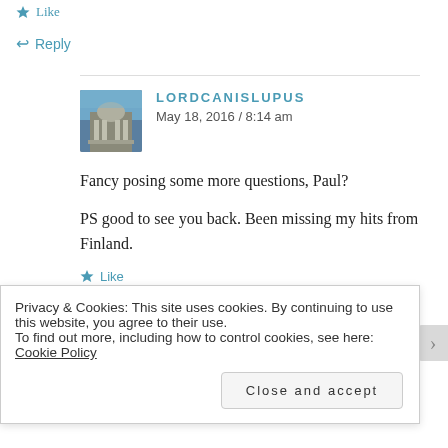★ Like
↩ Reply
LORDCANISLUPUS
May 18, 2016 / 8:14 am
Fancy posing some more questions, Paul?
PS good to see you back. Been missing my hits from Finland.
★ Like
Privacy & Cookies: This site uses cookies. By continuing to use this website, you agree to their use.
To find out more, including how to control cookies, see here: Cookie Policy
Close and accept